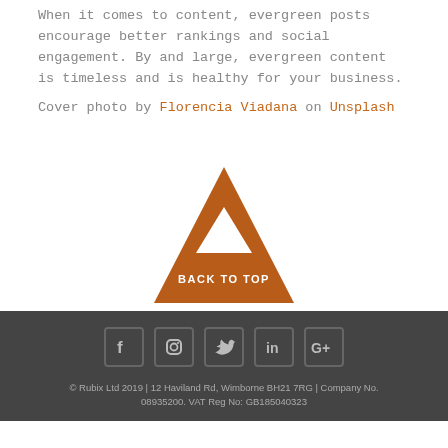When it comes to content, evergreen posts encourage better rankings and social engagement. By and large, evergreen content is timeless and is healthy for your business.
Cover photo by Florencia Viadana on Unsplash
[Figure (illustration): Orange triangle logo with a small white upward arrow inside, and text BACK TO TOP below]
© Rubix Ltd 2019 | 12 Haviland Rd, Wimborne BH21 7RG | Company No. 08935200. VAT Reg No: GB185040323